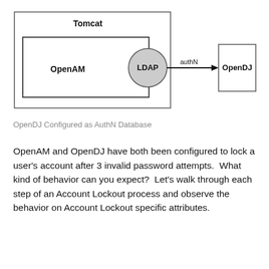[Figure (network-graph): Architecture diagram showing Tomcat containing OpenAM and an LDAP circle, with an arrow labeled 'authN' pointing from LDAP to OpenDJ box on the right.]
OpenDJ Configured as AuthN Database
OpenAM and OpenDJ have both been configured to lock a user's account after 3 invalid password attempts.  What kind of behavior can you expect?  Let's walk through each step of an Account Lockout process and observe the behavior on Account Lockout specific attributes.